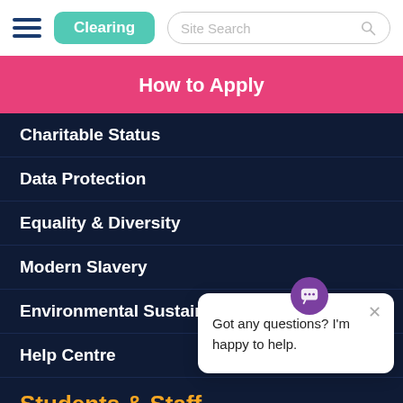[Figure (screenshot): University website navigation bar with hamburger menu, teal Clearing button, and Site Search field]
How to Apply
Charitable Status
Data Protection
Equality & Diversity
Modern Slavery
Environmental Sustaina...
Help Centre
[Figure (screenshot): Chat widget popup saying 'Got any questions? I'm happy to help.' with purple chat icon and close button]
Students & Staff
Staff Area
Staff Directory